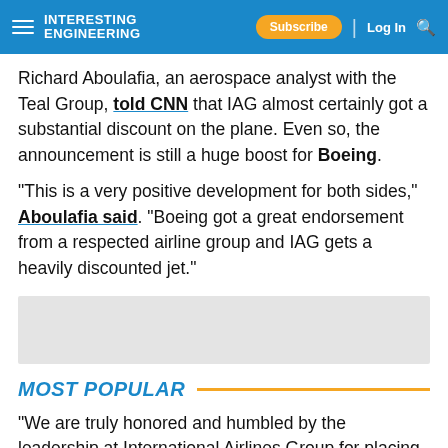Interesting Engineering — Subscribe | Log In
Richard Aboulafia, an aerospace analyst with the Teal Group, told CNN that IAG almost certainly got a substantial discount on the plane. Even so, the announcement is still a huge boost for Boeing.
"This is a very positive development for both sides," Aboulafia said. "Boeing got a great endorsement from a respected airline group and IAG gets a heavily discounted jet."
[Figure (other): Advertisement placeholder gray box]
MOST POPULAR
"We are truly honored and humbled by the leadership at International Airlines Group for placing their trust